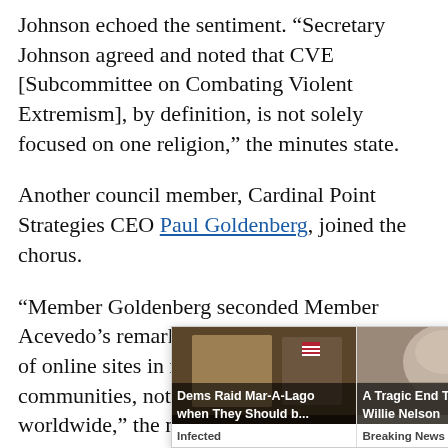Johnson echoed the sentiment. “Secretary Johnson agreed and noted that CVE [Subcommittee on Combating Violent Extremism], by definition, is not solely focused on one religion,” the minutes state.
Another council member, Cardinal Point Strategies CEO Paul Goldenberg, joined the chorus.
“Member Goldenberg seconded Member Acevedo’s remarks and noted the importance of online sites in right wing extremist communities, not only in America but worldwide,” the minutes state.
[Figure (screenshot): Advertisement overlay showing two sponsored content cards: 'Dems Raid Mar-A-Lago when They Should b...' (Infected) and 'A Tragic End Today For Willie Nelson' (Breaking News), with a close button (x) in the top right corner.]